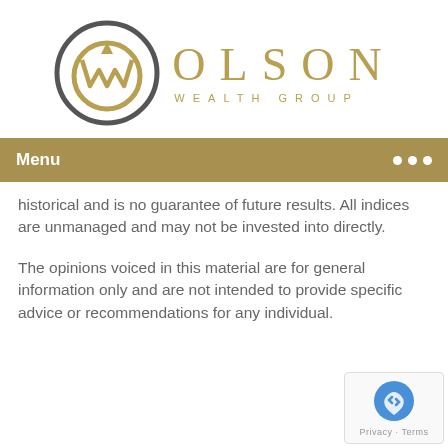[Figure (logo): Olson Wealth Group logo — circular OW monogram in dark gray and gold, with 'OLSON' in large gold serif letters and 'WEALTH GROUP' in smaller gold spaced caps to the right]
Menu
historical and is no guarantee of future results. All indices are unmanaged and may not be invested into directly.
The opinions voiced in this material are for general information only and are not intended to provide specific advice or recommendations for any individual.